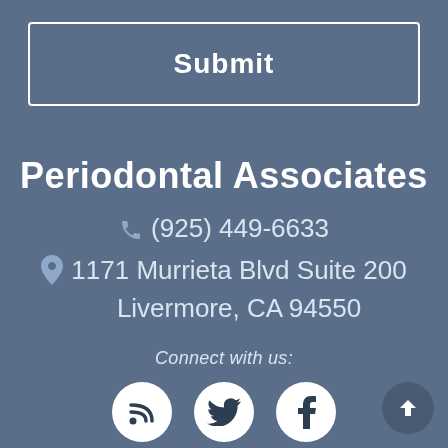Submit
Periodontal Associates
(925) 449-6633
1171 Murrieta Blvd Suite 200 Livermore, CA 94550
Connect with us:
[Figure (infographic): Three white circular social media icons (RSS feed, Twitter bird, Facebook f) on a blue-grey background, plus a dark circular up-arrow button in the bottom right corner.]